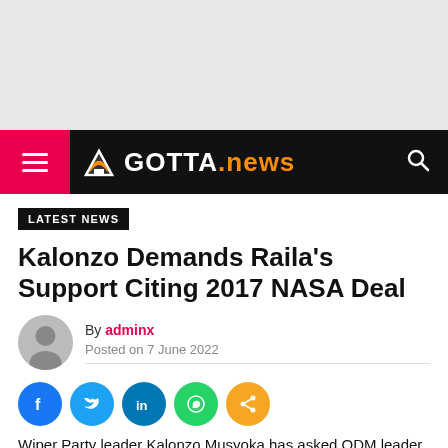[Figure (other): Gray advertisement placeholder banner]
GOTTA.news navigation bar with hamburger menu and search icon
LATEST NEWS
Kalonzo Demands Raila’s Support Citing 2017 NASA Deal
By adminx
Posted on 7 June 2022
[Figure (other): Social media share icons: Facebook, Twitter, LinkedIn, WhatsApp, Share]
Wiper Party leader Kalonzo Musyoka has asked ODM leader Raila Odinga to become a presidential...